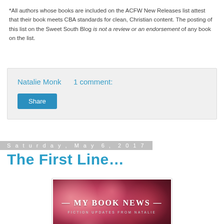*All authors whose books are included on the ACFW New Releases list attest that their book meets CBA standards for clean, Christian content. The posting of this list on the Sweet South Blog is not a review or an endorsement of any book on the list.
Natalie Monk    1 comment:
Share
Saturday, May 6, 2017
The First Line…
[Figure (illustration): A promotional image with pink/red flowers in bokeh background and white text reading '— MY BOOK NEWS —' and subtitle 'FICTION UPDATES FROM NATALIE' with a website URL at the bottom.]